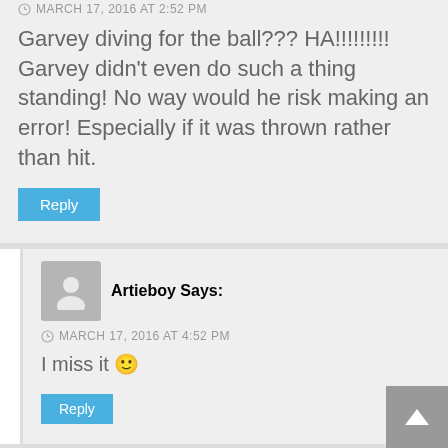MARCH 17, 2016 AT 2:52 PM
Garvey diving for the ball??? HA!!!!!!!! Garvey didn't even do such a thing standing! No way would he risk making an error! Especially if it was thrown rather than hit.
Reply
Artieboy Says:
MARCH 17, 2016 AT 4:52 PM
I miss it 🙂
Reply
snider fan Says: